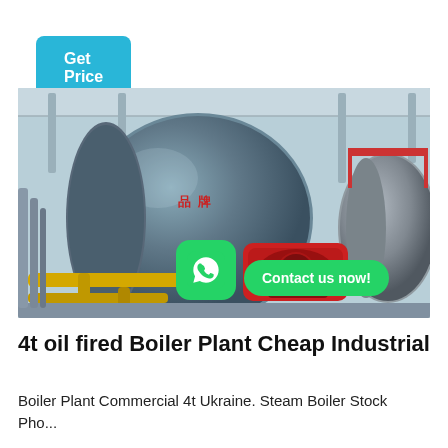Get Price
[Figure (photo): Industrial oil-fired boiler plant showing large cylindrical blue-grey boiler vessels with a red burner unit, yellow pipes, structural steel framework, and a WhatsApp contact button overlay]
4t oil fired Boiler Plant Cheap Industrial
Boiler Plant Commercial 4t Ukraine. Steam Boiler Stock Photos and Images. 4t oil fired...